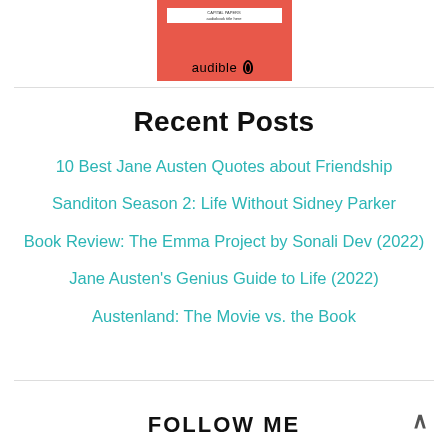[Figure (illustration): Audible audiobook cover image with red/coral background and audible logo with leaf icon]
Recent Posts
10 Best Jane Austen Quotes about Friendship
Sanditon Season 2: Life Without Sidney Parker
Book Review: The Emma Project by Sonali Dev (2022)
Jane Austen's Genius Guide to Life (2022)
Austenland: The Movie vs. the Book
FOLLOW ME